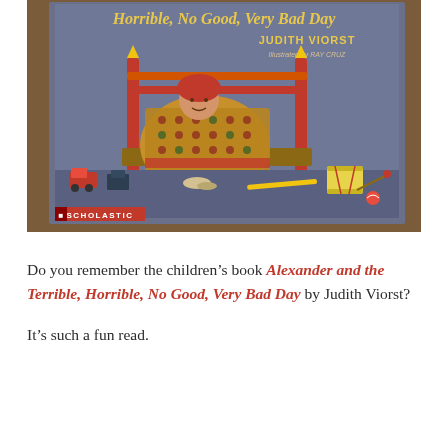[Figure (photo): Photograph of the children's book 'Alexander and the Terrible, Horrible, No Good, Very Bad Day' by Judith Viorst, illustrated by Ray Cruz, published by Scholastic. The cover shows a child with red hair huddled under a patchwork quilt on a bed with red pencil-post bedposts, surrounded by toys on the floor including a toy train and a drum. The title is in yellow text on a blue-gray background.]
Do you remember the children's book Alexander and the Terrible, Horrible, No Good, Very Bad Day by Judith Viorst?
It's such a fun read.